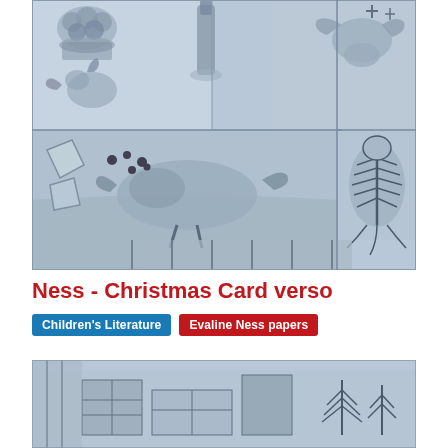[Figure (illustration): A grayscale sketch illustration showing a still life scene with fruits in a basket, a bottle, a roasted bird/chicken, a fish skeleton, and various food items on a table, rendered in a loose artistic style with blue-gray tones.]
Ness - Christmas Card verso
Children's Literature   Evaline Ness papers
[Figure (illustration): A partial grayscale sketch illustration showing architectural or outdoor elements with trees and structures, rendered in the same loose artistic style as the top image.]